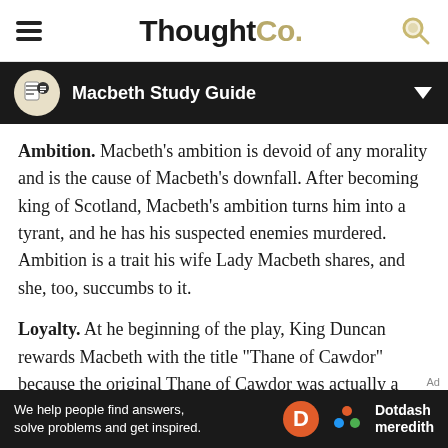ThoughtCo.
Macbeth Study Guide
Ambition. Macbeth’s ambition is devoid of any morality and is the cause of Macbeth’s downfall. After becoming king of Scotland, Macbeth’s ambition turns him into a tyrant, and he has his suspected enemies murdered. Ambition is a trait his wife Lady Macbeth shares, and she, too, succumbs to it.
Loyalty. At he beginning of the play, King Duncan rewards Macbeth with the title “Thane of Cawdor” because the original Thane of Cawdor was actually a traitor, but Macbeth betrays the king in order to usurp the throne. Macduff, who suspects Macbeth once he sees the king’s corpse, flees to
[Figure (logo): Dotdash Meredith advertisement banner with text: We help people find answers, solve problems and get inspired.]